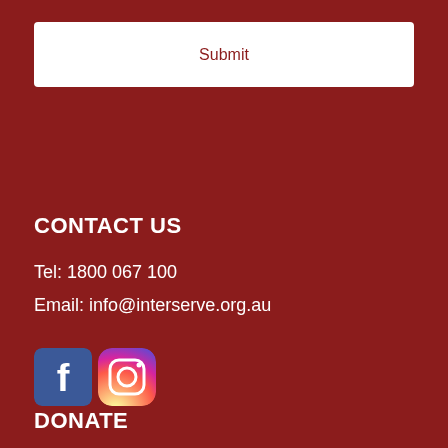[Figure (other): Submit button — white rounded rectangle with dark red 'Submit' text]
CONTACT US
Tel: 1800 067 100
Email: info@interserve.org.au
[Figure (other): Facebook and Instagram social media icons side by side]
DONATE